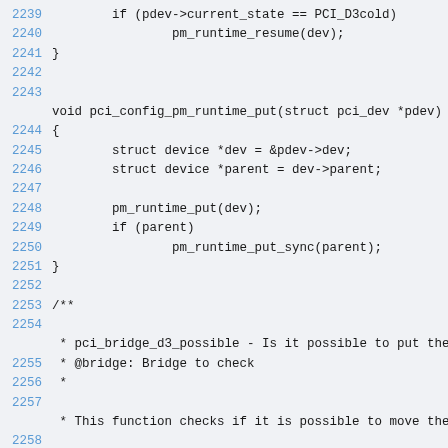Code listing showing C source lines 2239–2259 including pci_config_pm_runtime_put function and pci_bridge_d3_possible documentation comment.